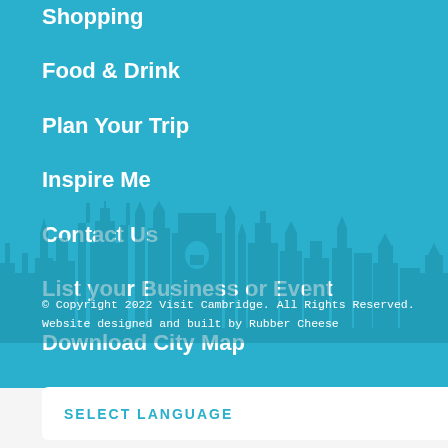Shopping
Food & Drink
Plan Your Trip
Inspire Me
Contact Us
List your Business or Event
Download City Map
[Figure (illustration): Cambridge city skyline silhouette showing college buildings, towers and spires in a darker teal blue against the lighter teal background]
© Copyright 2022 Visit Cambridge. All Rights Reserved.
Website designed and built by Rubber Cheese
SELECT LANGUAGE